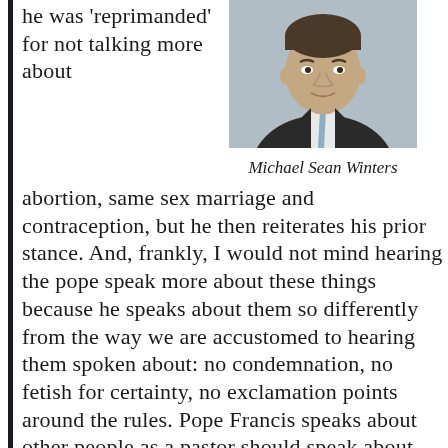he was 'reprimanded' for not talking more about
[Figure (photo): Headshot photo of Michael Sean Winters, a man in a dark suit and tie]
Michael Sean Winters
abortion, same sex marriage and contraception, but he then reiterates his prior stance. And, frankly, I would not mind hearing the pope speak more about these things because he speaks about them so differently from the way we are accustomed to hearing them spoken about: no condemnation, no fetish for certainty, no exclamation points around the rules. Pope Francis speaks about other people as a pastor should speak about them, as children of God. He shares his own struggles, opens up his own faith journey, and the effect is